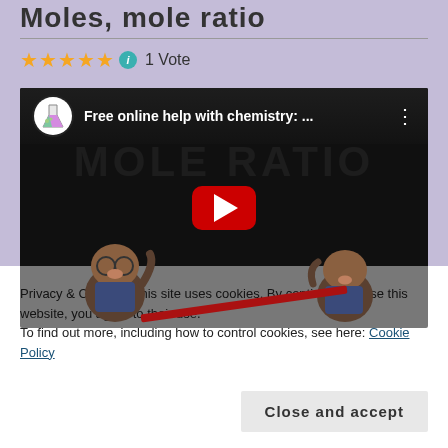Moles, mole ratio
★★★★★ ℹ 1 Vote
[Figure (screenshot): YouTube video thumbnail showing 'Free online help with chemistry: ...' with mole rat cartoon characters and MOLE RATIO title text, with a red play button in the center]
Privacy & Cookies: This site uses cookies. By continuing to use this website, you agree to their use.
To find out more, including how to control cookies, see here: Cookie Policy
Close and accept